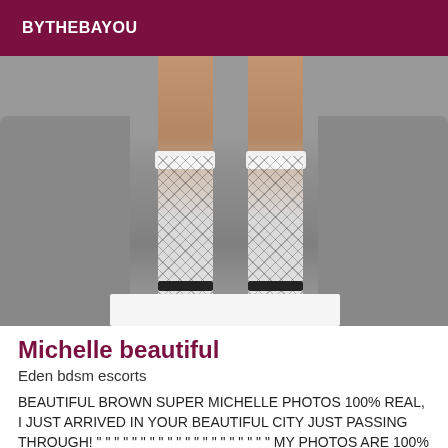BYTHEBAYOU
[Figure (photo): Photo showing legs of a person wearing white fishnet stockings with white cuffs at the top and black ankle straps at the bottom, posed on/near a gray sectional sofa with a white coffee table in the foreground.]
Michelle beautiful
Eden bdsm escorts
BEAUTIFUL BROWN SUPER MICHELLE PHOTOS 100% REAL, I JUST ARRIVED IN YOUR BEAUTIFUL CITY JUST PASSING THROUGH! " " " " " " " " " " " " " " " " " " " " MY PHOTOS ARE 100% REAL. --------- I am